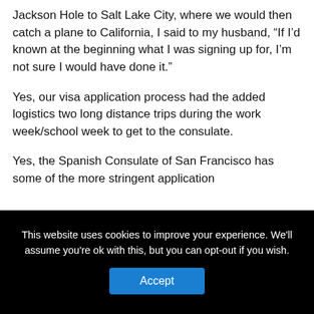Jackson Hole to Salt Lake City, where we would then catch a plane to California, I said to my husband, “If I’d known at the beginning what I was signing up for, I’m not sure I would have done it.”
Yes, our visa application process had the added logistics two long distance trips during the work week/school week to get to the consulate.
Yes, the Spanish Consulate of San Francisco has some of the more stringent application
This website uses cookies to improve your experience. We'll assume you're ok with this, but you can opt-out if you wish.